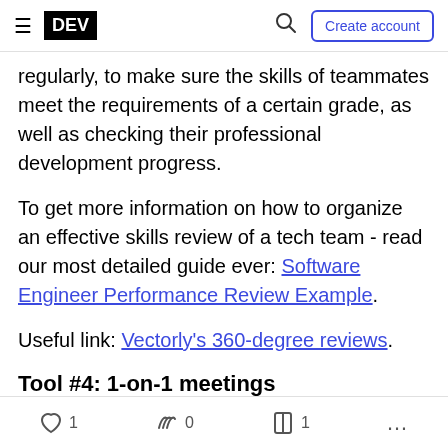DEV | Create account
regularly, to make sure the skills of teammates meet the requirements of a certain grade, as well as checking their professional development progress.
To get more information on how to organize an effective skills review of a tech team - read our most detailed guide ever: Software Engineer Performance Review Example.
Useful link: Vectorly's 360-degree reviews.
Tool #4: 1-on-1 meetings
Personal meetings help to discuss career goals, set
1   0   1   ...